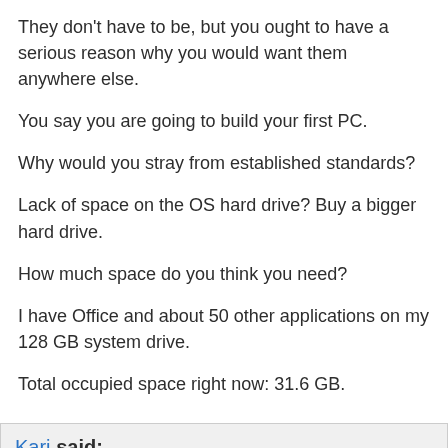They don't have to be, but you ought to have a serious reason why you would want them anywhere else.
You say you are going to build your first PC.
Why would you stray from established standards?
Lack of space on the OS hard drive? Buy a bigger hard drive.
How much space do you think you need?
I have Office and about 50 other applications on my 128 GB system drive.
Total occupied space right now: 31.6 GB.
Kari said:
19 Jun 2020
Originally Posted by Madrona
I was thinking of putting Windows 10 (and drivers) only on